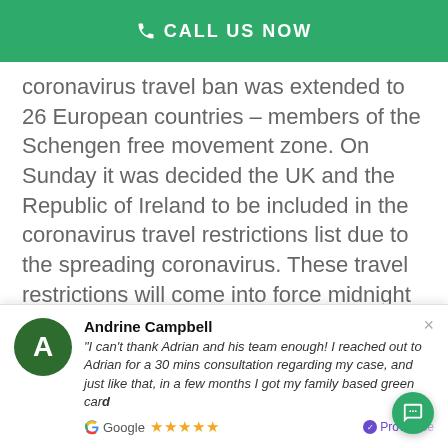CALL US NOW
coronavirus travel ban was extended to 26 European countries – members of the Schengen free movement zone. On Sunday it was decided the UK and the Republic of Ireland to be included in the coronavirus travel restrictions list due to the spreading coronavirus. These travel restrictions will come into force midnight on Monday, March 16, Eastern Standard Time.
Are there exceptions to
Andrine Campbell
"I can't thank Adrian and his team enough! I reached out to Adrian for a 30 mins consultation regarding my case, and just like that, in a few months I got my family based green card"
Google ★★★★★  Provenance